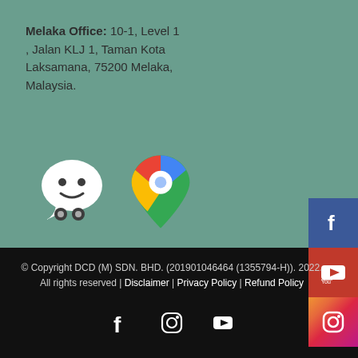Melaka Office: 10-1, Level 1, Jalan KLJ 1, Taman Kota Laksamana, 75200 Melaka, Malaysia.
[Figure (illustration): Waze navigation app logo (white speech bubble with smiley face and wheels) and Google Maps pin icon]
[Figure (logo): Social media sidebar icons: Facebook (blue), YouTube (red), Instagram (gradient)]
© Copyright DCD (M) SDN. BHD. (201901046464 (1355794-H)). 2022. All rights reserved | Disclaimer | Privacy Policy | Refund Policy
[Figure (illustration): Social media icons at bottom: Facebook, Instagram, YouTube (white on black background)]